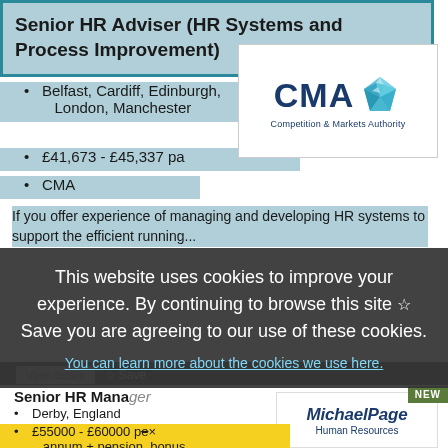Senior HR Adviser (HR Systems and Process Improvement)
Belfast, Cardiff, Edinburgh, London, Manchester
£41,673 - £45,337 pa
CMA
[Figure (logo): CMA - Competition & Markets Authority logo with blue geometric gem shape]
If you offer experience of managing and developing HR systems to support the efficient running...
This website uses cookies to improve your experience. By continuing to browse this site you are agreeing to our use of these cookies.
You can learn more about the cookies we use here.
Senior HR Manager
Derby, England
£55000 - £60000 per annum + pension, bonus,
[Figure (logo): Michael Page Human Resources logo]